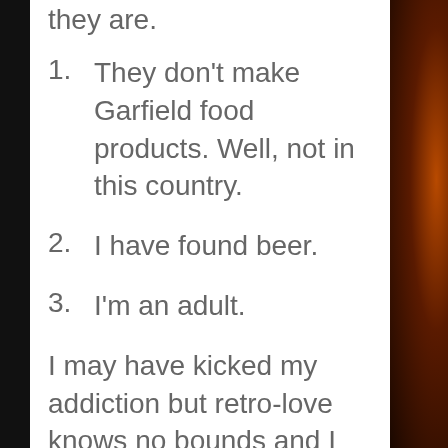they are.
1. They don't make Garfield food products. Well, not in this country.
2. I have found beer.
3. I'm an adult.
I may have kicked my addiction but retro-love knows no bounds and I am